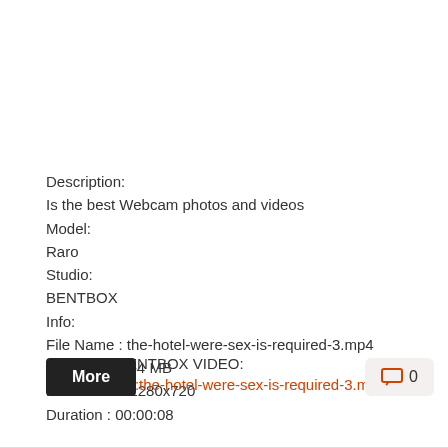Description:
Is the best Webcam photos and videos
Model:
Raro
Studio:
BENTBOX
Info:
File Name : the-hotel-were-sex-is-required-3.mp4
File Size : 2.84 MB
Resolution : 1280x720
Duration : 00:00:08
Download BENTBOX VIDEO:
Flyfiles Video:the-hotel-were-sex-is-required-3.mp4